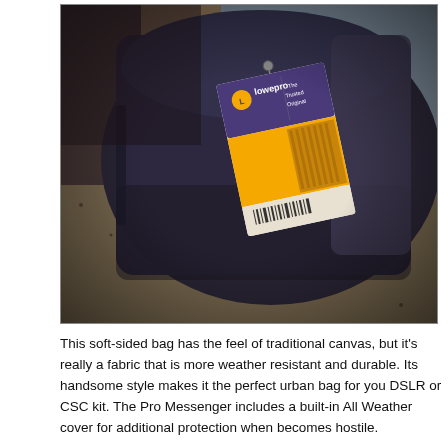[Figure (photo): A dark navy/purple Lowepro camera bag with a yellow and purple product tag attached, resting on a sandy/concrete surface. The tag shows the Lowepro logo and 'The Trusted Original' text.]
This soft-sided bag has the feel of traditional canvas, but it's really a fabric that is more weather resistant and durable. Its handsome style makes it the perfect urban bag for you DSLR or CSC kit. The Pro Messenger includes a built-in All Weather cover for additional protection when becomes hostile.